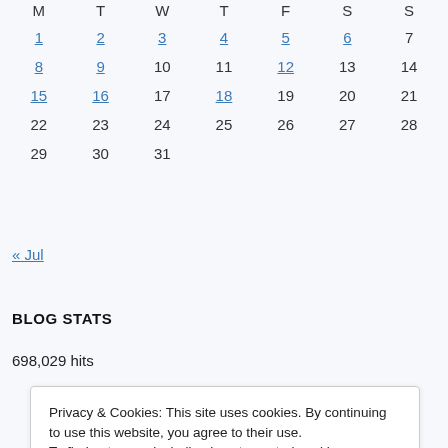| M | T | W | T | F | S | S |
| --- | --- | --- | --- | --- | --- | --- |
| 1 | 2 | 3 | 4 | 5 | 6 | 7 |
| 8 | 9 | 10 | 11 | 12 | 13 | 14 |
| 15 | 16 | 17 | 18 | 19 | 20 | 21 |
| 22 | 23 | 24 | 25 | 26 | 27 | 28 |
| 29 | 30 | 31 |  |  |  |  |
« Jul
BLOG STATS
698,029 hits
Privacy & Cookies: This site uses cookies. By continuing to use this website, you agree to their use.
To find out more, including how to control cookies, see here: Cookie Policy